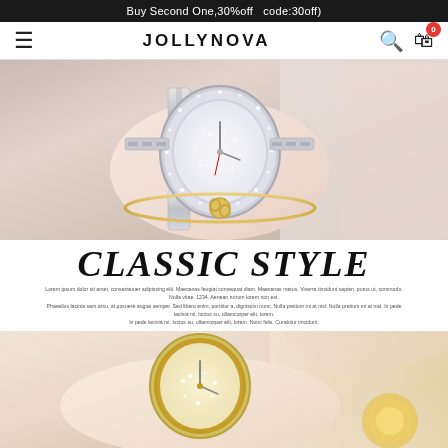Buy Second One,30%off  code:30off)
JOLLYNOVA
[Figure (photo): Close-up photo of a woman's wrist wearing a sparkling diamond-encrusted silver watch with a gold knot bangle bracelet]
CLASSIC STYLE
Lorem ipsum dolor sit amet, consectetuer adipiscing elit. Maecenas feugiat consequat diam. Maecenas metus. Viverra tincidunt sapien, purus ut, commodo. Nulla vitae, 1234. Aenean rutrum lorem non est. Phasellus lacinia sem arcu, at posuere augue semper. Sed libero enim, porttitor a, dignissim nunc. Nulla pretium mi at nisl. In pede lacinia mi, luctus su, ullamcorper elit, lorem. Nunc felis. Curabitur tincidunt.
[Figure (photo): Close-up photo of a woman's wrist and hand area wearing a gold sparkly watch, partial view showing skin tones in warm beige and peach]